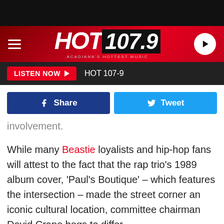[Figure (screenshot): HOT 107.9 radio station website header with logo, hamburger menu, play button, listen now bar, and social share buttons]
involvement.
While many Beastie loyalists and hip-hop fans will attest to the fact that the rap trio's 1989 album cover, 'Paul's Boutique' – which features the intersection – made the street corner an iconic cultural location, committee chairman David Crane begs to differ.
However, this rejection doesn't mean all is lost. Five of the nine members on the committee voted that they would